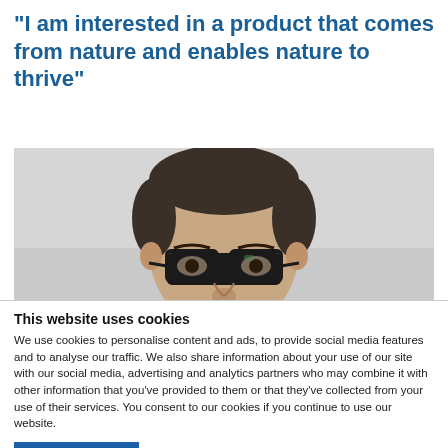“I am interested in a product that comes from nature and enables nature to thrive”
[Figure (photo): Portrait photo of a middle-aged man with dark hair, wearing glasses, against a light grey background]
This website uses cookies
We use cookies to personalise content and ads, to provide social media features and to analyse our traffic. We also share information about your use of our site with our social media, advertising and analytics partners who may combine it with other information that you’ve provided to them or that they’ve collected from your use of their services. You consent to our cookies if you continue to use our website.
OK
Settings